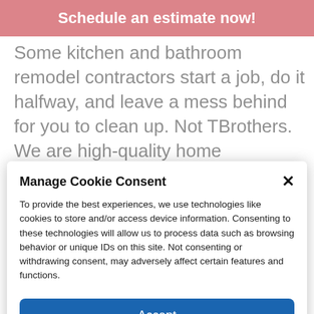Schedule an estimate now!
Some kitchen and bathroom remodel contractors start a job, do it halfway, and leave a mess behind for you to clean up. Not TBrothers. We are high-quality home remodeling contractors in Buffalo NY that do the process right the first time. This
Manage Cookie Consent
To provide the best experiences, we use technologies like cookies to store and/or access device information. Consenting to these technologies will allow us to process data such as browsing behavior or unique IDs on this site. Not consenting or withdrawing consent, may adversely affect certain features and functions.
Accept
Cookie Policy   Privacy Policy